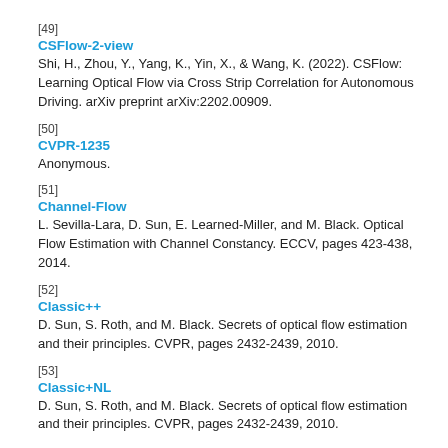[49]
CSFlow-2-view
Shi, H., Zhou, Y., Yang, K., Yin, X., & Wang, K. (2022). CSFlow: Learning Optical Flow via Cross Strip Correlation for Autonomous Driving. arXiv preprint arXiv:2202.00909.
[50]
CVPR-1235
Anonymous.
[51]
Channel-Flow
L. Sevilla-Lara, D. Sun, E. Learned-Miller, and M. Black. Optical Flow Estimation with Channel Constancy. ECCV, pages 423-438, 2014.
[52]
Classic++
D. Sun, S. Roth, and M. Black. Secrets of optical flow estimation and their principles. CVPR, pages 2432-2439, 2010.
[53]
Classic+NL
D. Sun, S. Roth, and M. Black. Secrets of optical flow estimation and their principles. CVPR, pages 2432-2439, 2010.